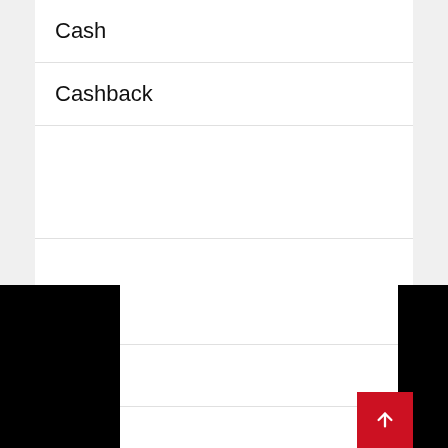Cash
Cashback
…harge
…hecks
…hewy
…hicken
Club
Code
PREVIOUS POST
NEXT POST